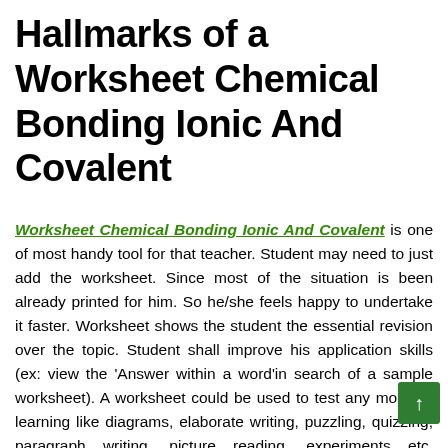Hallmarks of a Worksheet Chemical Bonding Ionic And Covalent
Worksheet Chemical Bonding Ionic And Covalent is one of most handy tool for that teacher. Student may need to just add the worksheet. Since most of the situation is been already printed for him. So he/she feels happy to undertake it faster. Worksheet shows the student the essential revision over the topic. Student shall improve his application skills (ex: view the 'Answer within a word'in search of a sample worksheet). A worksheet could be used to test any mode of learning like diagrams, elaborate writing, puzzling, quizzing, paragraph writing, picture reading, experiments etc. Worksheets may be developed for the'Gifted Children'which gives more inputs to the